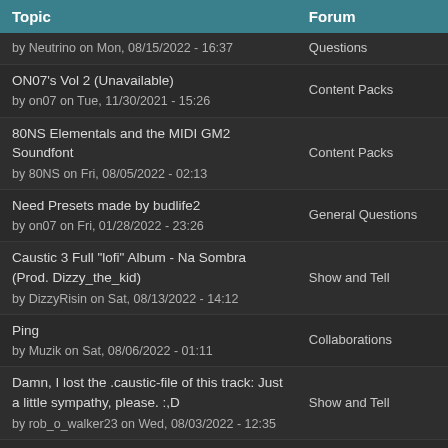| Topic | Forum |
| --- | --- |
| [topic title cut off]
by Neutrino on Mon, 08/15/2022 - 16:37 | Questions |
| ON07's Vol 2 (Unavailable)
by on07 on Tue, 11/30/2021 - 15:26 | Content Packs |
| 80NS Elementals and the MIDI GM2 Soundfont
by 80NS on Fri, 08/05/2022 - 02:13 | Content Packs |
| Need Presets made by budlife2
by on07 on Fri, 01/28/2022 - 23:26 | General Questions |
| Caustic 3 Full "lofi" Album - Na Sombra (Prod. Dizzy_the_kid)
by DizzyRisin on Sat, 08/13/2022 - 14:12 | Show and Tell |
| Ping
by Muzik on Sat, 08/06/2022 - 01:11 | Collaborations |
| Damn, I lost the .caustic-file of this track: Just a little sympathy, please. :,D
by rob_o_walker23 on Wed, 08/03/2022 - 12:35 | Show and Tell |
| New Video: Understanding Modular Synthesis - Part 1
by SToons Music on Sat, 07/30/2022 - 08:42 | Tips and Tricks |